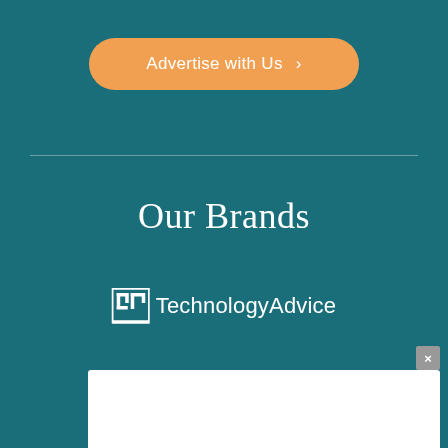[Figure (other): Orange rounded button labeled 'Advertise with Us >']
Our Brands
[Figure (logo): TechnologyAdvice logo — white TA icon followed by 'TechnologyAdvice' text in white]
[Figure (other): White popup/modal area at the bottom with a grey close (×) button in the top-right corner]